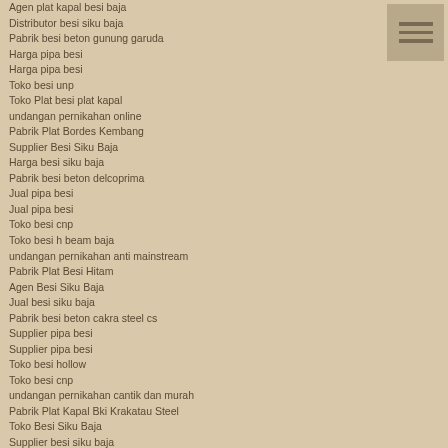Agen plat kapal besi baja
Distributor besi siku baja
Pabrik besi beton gunung garuda
Harga pipa besi
Harga pipa besi
Toko besi unp
Toko Plat besi plat kapal
undangan pernikahan online
Pabrik Plat Bordes Kembang
Supplier Besi Siku Baja
Harga besi siku baja
Pabrik besi beton delcoprima
Jual pipa besi
Jual pipa besi
Toko besi cnp
Toko besi h beam baja
undangan pernikahan anti mainstream
Pabrik Plat Besi Hitam
Agen Besi Siku Baja
Jual besi siku baja
Pabrik besi beton cakra steel cs
Supplier pipa besi
Supplier pipa besi
Toko besi hollow
Toko besi cnp
undangan pernikahan cantik dan murah
Pabrik Plat Kapal Bki Krakatau Steel
Toko Besi Siku Baja
Supplier besi siku baja
Pabrik besi beton ubi